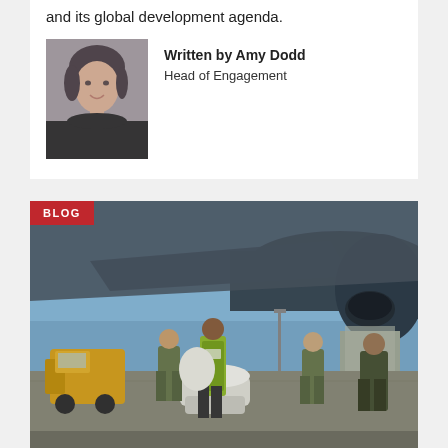and its global development agenda.
Written by Amy Dodd
Head of Engagement
[Figure (photo): Headshot of Amy Dodd, a woman with short dark hair wearing a black top]
[Figure (photo): Military personnel and a UKAID worker in a high-visibility green vest loading or handling large white supply bags near a military transport aircraft on an airfield tarmac, with yellow construction equipment visible on the left]
BLOG